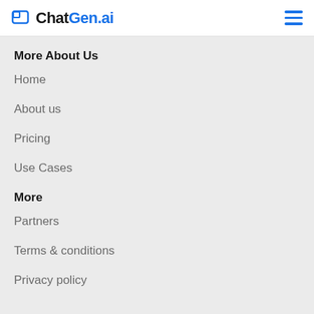ChatGen.ai
More About Us
Home
About us
Pricing
Use Cases
More
Partners
Terms & conditions
Privacy policy